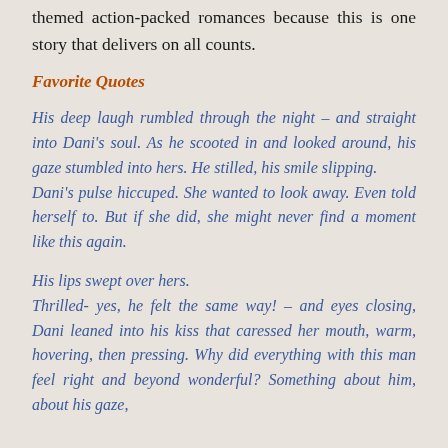themed action-packed romances because this is one story that delivers on all counts.
Favorite Quotes
His deep laugh rumbled through the night – and straight into Dani's soul. As he scooted in and looked around, his gaze stumbled into hers. He stilled, his smile slipping. Dani's pulse hiccuped. She wanted to look away. Even told herself to. But if she did, she might never find a moment like this again.
His lips swept over hers. Thrilled- yes, he felt the same way! – and eyes closing, Dani leaned into his kiss that caressed her mouth, warm, hovering, then pressing. Why did everything with this man feel right and beyond wonderful? Something about him, about his gaze,